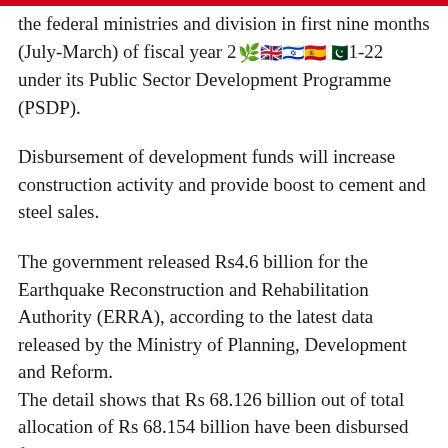the federal ministries and division in first nine months (July-March) of fiscal year 2021-22 under its Public Sector Development Programme (PSDP).
Disbursement of development funds will increase construction activity and provide boost to cement and steel sales.
The government released Rs4.6 billion for the Earthquake Reconstruction and Rehabilitation Authority (ERRA), according to the latest data released by the Ministry of Planning, Development and Reform. The detail shows that Rs 68.126 billion out of total allocation of Rs 68.154 billion have been disbursed for the Cabinet division, Rs 1.489 billion have been disbursed for Aviation Division,